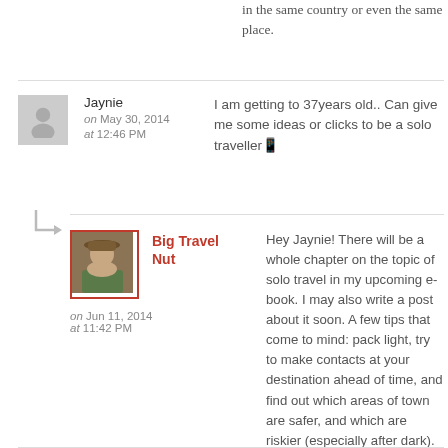in the same country or even the same place.
Jaynie
on May 30, 2014 at 12:46 PM
I am getting to 37years old.. Can give me some ideas or clicks to be a solo traveller
Big Travel Nut
on Jun 11, 2014 at 11:42 PM
Hey Jaynie! There will be a whole chapter on the topic of solo travel in my upcoming e-book. I may also write a post about it soon. A few tips that come to mind: pack light, try to make contacts at your destination ahead of time, and find out which areas of town are safer, and which are riskier (especially after dark). Book your accommodation in the safer areas.